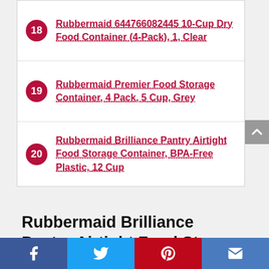18 Rubbermaid 644766082445 10-Cup Dry Food Container (4-Pack), 1, Clear
19 Rubbermaid Premier Food Storage Container, 4 Pack, 5 Cup, Grey
20 Rubbermaid Brilliance Pantry Airtight Food Storage Container, BPA-Free Plastic, 12 Cup
Rubbermaid Brilliance Pantry Airtight Food Storage Container, BPA-free Plastic, 10-Piece set with Lids